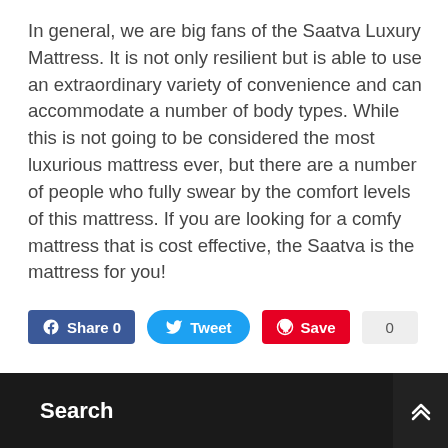In general, we are big fans of the Saatva Luxury Mattress. It is not only resilient but is able to use an extraordinary variety of convenience and can accommodate a number of body types. While this is not going to be considered the most luxurious mattress ever, but there are a number of people who fully swear by the comfort levels of this mattress. If you are looking for a comfy mattress that is cost effective, the Saatva is the mattress for you!
[Figure (infographic): Social sharing buttons: Facebook Share 0, Twitter Tweet, Pinterest Save with count 0]
Search